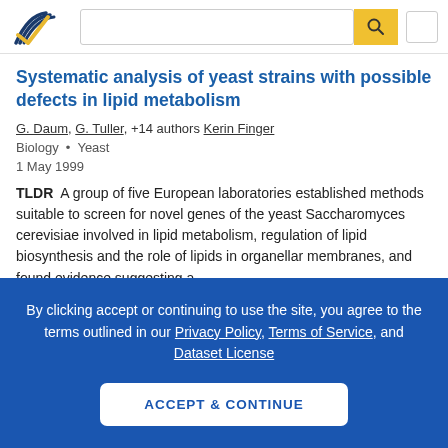Semantic Scholar — search bar and logo header
Systematic analysis of yeast strains with possible defects in lipid metabolism
G. Daum, G. Tuller, +14 authors Kerin Finger
Biology · Yeast
1 May 1999
TLDR A group of five European laboratories established methods suitable to screen for novel genes of the yeast Saccharomyces cerevisiae involved in lipid metabolism, regulation of lipid biosynthesis and the role of lipids in organellar membranes, and found evidence suggesting a
By clicking accept or continuing to use the site, you agree to the terms outlined in our Privacy Policy, Terms of Service, and Dataset License
ACCEPT & CONTINUE